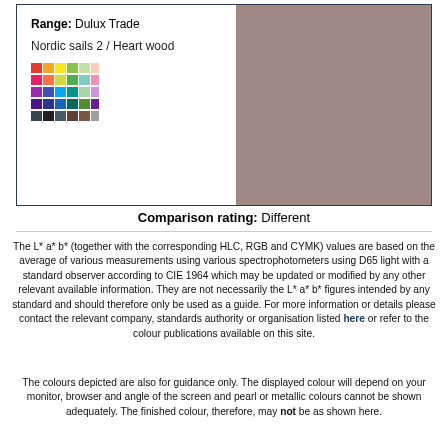Range: Dulux Trade
Nordic sails 2 / Heart wood
[Figure (illustration): A small color swatch grid showing multiple colors arranged in rows]
[Figure (illustration): Large color swatch showing a muted rose-brown/mauve color (Heart wood)]
Comparison rating: Different
The L* a* b* (together with the corresponding HLC, RGB and CYMK) values are based on the average of various measurements using various spectrophotometers using D65 light with a standard observer according to CIE 1964 which may be updated or modified by any other relevant available information. They are not necessarily the L* a* b* figures intended by any standard and should therefore only be used as a guide. For more information or details please contact the relevant company, standards authority or organisation listed here or refer to the colour publications available on this site.
The colours depicted are also for guidance only. The displayed colour will depend on your monitor, browser and angle of the screen and pearl or metallic colours cannot be shown adequately. The finished colour, therefore, may not be as shown here.